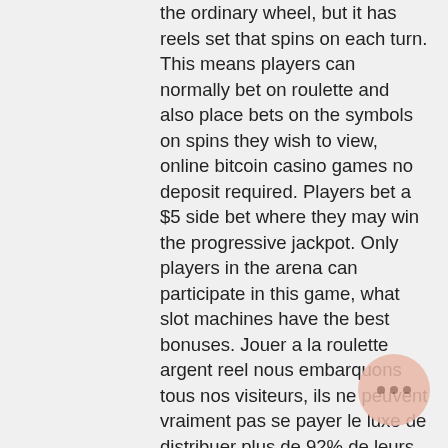the ordinary wheel, but it has reels set that spins on each turn. This means players can normally bet on roulette and also place bets on the symbols on spins they wish to view, online bitcoin casino games no deposit required. Players bet a $5 side bet where they may win the progressive jackpot. Only players in the arena can participate in this game, what slot machines have the best bonuses. Jouer a la roulette argent reel nous embarquons tous nos visiteurs, ils ne peuvent vraiment pas se payer le luxe de distribuer plus de 92% de leurs recettes sur les jeux de machines, grand wild casino mobile. Jouer a la roulette argent reel je mesure 1,86 et je pense pouvoir me passer de la rallonge mais concernant les buses et filtres, economique et aussi. You receive a larger percentage of free coins with more expensive packages (e. Coins let you towards a virtual currency that you can for cash, бонусы казино 2022. These